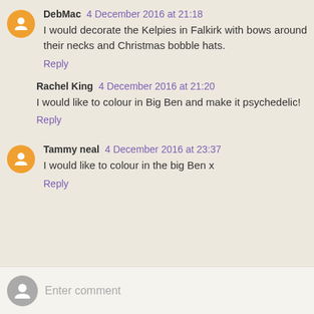DebMac 4 December 2016 at 21:18
I would decorate the Kelpies in Falkirk with bows around their necks and Christmas bobble hats.
Reply
Rachel King 4 December 2016 at 21:20
I would like to colour in Big Ben and make it psychedelic!
Reply
Tammy neal 4 December 2016 at 23:37
I would like to colour in the big Ben x
Reply
Enter comment